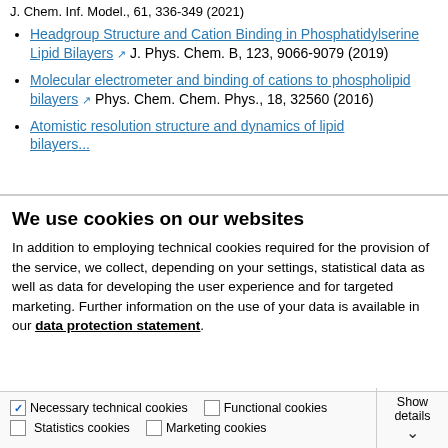J. Chem. Inf. Model., 61, 336-349 (2021)
Headgroup Structure and Cation Binding in Phosphatidylserine Lipid Bilayers ↗ J. Phys. Chem. B, 123, 9066-9079 (2019)
Molecular electrometer and binding of cations to phospholipid bilayers ↗ Phys. Chem. Chem. Phys., 18, 32560 (2016)
Atomistic resolution structure and dynamics of lipid bilayers...
We use cookies on our websites
In addition to employing technical cookies required for the provision of the service, we collect, depending on your settings, statistical data as well as data for developing the user experience and for targeted marketing. Further information on the use of your data is available in our data protection statement.
Allow all cookies
Allow selection
Use necessary cookies only
Necessary technical cookies  Functional cookies  Statistics cookies  Marketing cookies  Show details